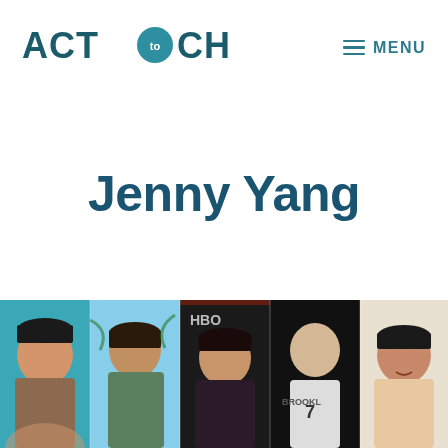[Figure (logo): ACT to CHANGE logo with teal arrow play button icon between words]
≡ MENU
Jenny Yang
[Figure (photo): Strip of five headshot photos of Asian American celebrities and influencers including a woman with bangs, a man with dark hair outdoors, a woman at an HBO event, a basketball player in Brooklyn jersey number 7, and a smiling man]